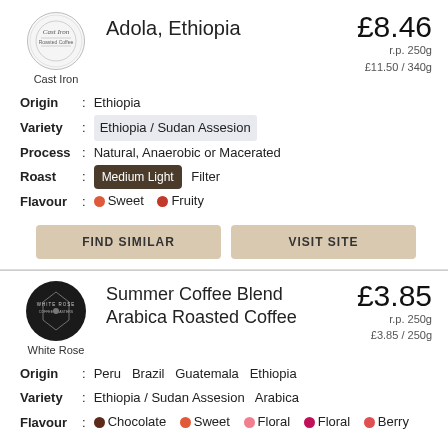[Figure (logo): Cast Iron Roasted Coffee circular logo]
Adola, Ethiopia
£8.46
r.p. 250g
£11.50 / 340g
Cast Iron
Origin : Ethiopia
Variety : Ethiopia / Sudan Assesion
Process : Natural, Anaerobic or Macerated
Roast : Medium Light  Filter
Flavour : Sweet  Fruity
FIND SIMILAR
VISIT SITE
[Figure (logo): White Rose coffee roasters circular dark logo]
Summer Coffee Blend Arabica Roasted Coffee
£3.85
r.p. 250g
£3.85 / 250g
White Rose
Origin : Peru  Brazil  Guatemala  Ethiopia
Variety : Ethiopia / Sudan Assesion  Arabica
Flavour : Chocolate  Sweet  Floral  Floral  Berry